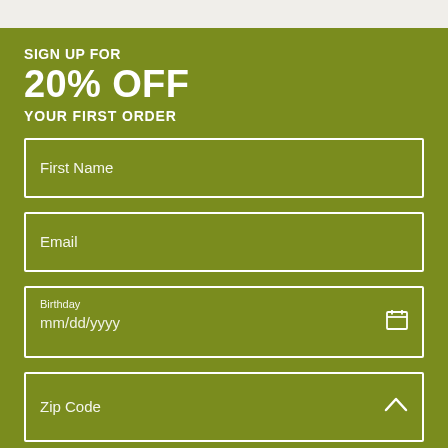SIGN UP FOR
20% OFF
YOUR FIRST ORDER
First Name
Email
Birthday
mm/dd/yyyy
Zip Code